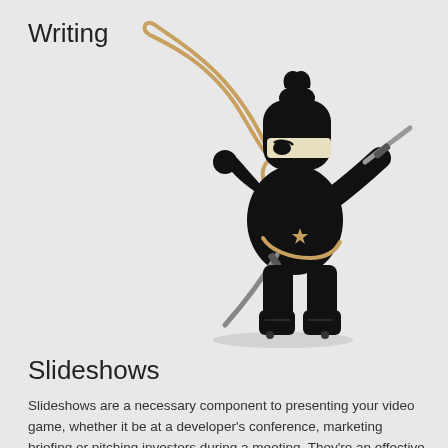Writing
[Figure (illustration): Cartoon ninja character dressed in black holding a rope/whip in one hand and a sword in the other, with a katana strapped to its back, standing in a wide stance on a light gray background.]
Slideshows
Slideshows are a necessary component to presenting your video game, whether it be at a developer's conference, marketing briefing or pitching investors during a meeting. They're an effective and concise way to get your message across visually, while also supplementing your speech.